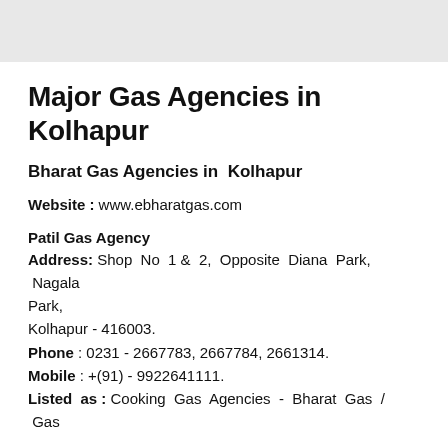Major Gas Agencies in Kolhapur
Bharat Gas Agencies in  Kolhapur
Website : www.ebharatgas.com
Patil Gas Agency
Address: Shop No 1 & 2, Opposite Diana Park, Nagala Park,
Kolhapur - 416003.
Phone : 0231 - 2667783, 2667784, 2661314.
Mobile : +(91) - 9922641111.
Listed as : Cooking Gas Agencies - Bharat Gas / Gas